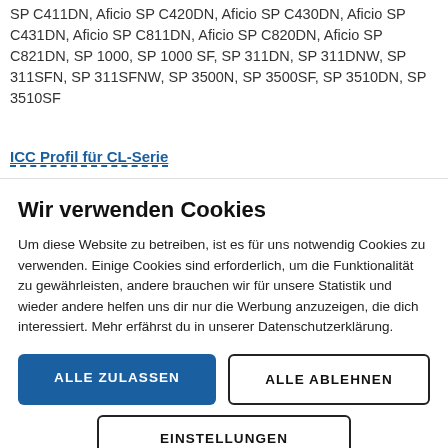SP C411DN, Aficio SP C420DN, Aficio SP C430DN, Aficio SP C431DN, Aficio SP C811DN, Aficio SP C820DN, Aficio SP C821DN, SP 1000, SP 1000 SF, SP 311DN, SP 311DNW, SP 311SFN, SP 311SFNW, SP 3500N, SP 3500SF, SP 3510DN, SP 3510SF
ICC Profil für CL-Serie
Wir verwenden Cookies
Um diese Website zu betreiben, ist es für uns notwendig Cookies zu verwenden. Einige Cookies sind erforderlich, um die Funktionalität zu gewährleisten, andere brauchen wir für unsere Statistik und wieder andere helfen uns dir nur die Werbung anzuzeigen, die dich interessiert. Mehr erfährst du in unserer Datenschutzerklärung.
ALLE ZULASSEN
ALLE ABLEHNEN
EINSTELLUNGEN
Datenschutz | Impressum